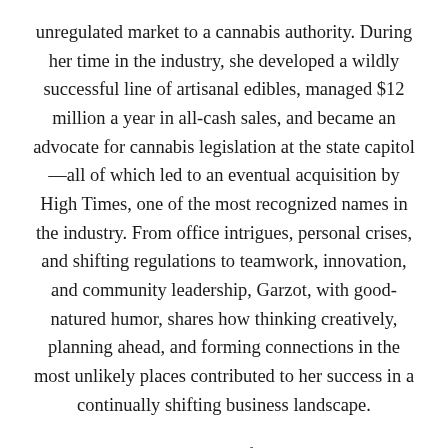unregulated market to a cannabis authority. During her time in the industry, she developed a wildly successful line of artisanal edibles, managed $12 million a year in all-cash sales, and became an advocate for cannabis legislation at the state capitol—all of which led to an eventual acquisition by High Times, one of the most recognized names in the industry. From office intrigues, personal crises, and shifting regulations to teamwork, innovation, and community leadership, Garzot, with good-natured humor, shares how thinking creatively, planning ahead, and forming connections in the most unlikely places contributed to her success in a continually shifting business landscape.
Unconventional is the story of an industry in its wild heyday, the inner workings of local and state government and cannabis's dicey road to regulation,